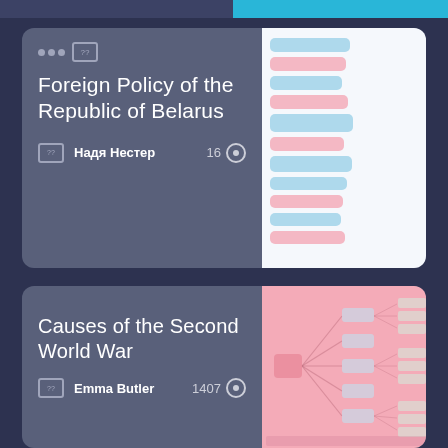[Figure (screenshot): App UI card: Foreign Policy of the Republic of Belarus, by Надя Нестер, 16 items, with mind map preview]
[Figure (screenshot): App UI card: Causes of the Second World War, by Emma Butler, 1407 items, with pink mind map preview]